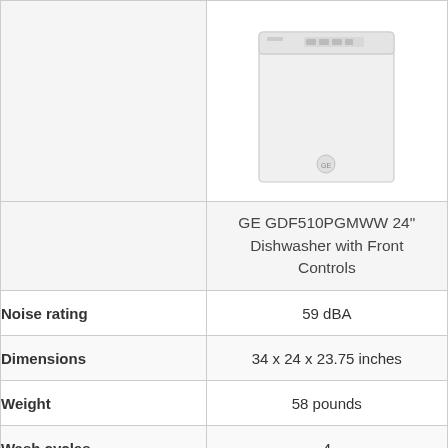[Figure (photo): Photo of GE GDF510PGMWW 24-inch white dishwasher with front controls]
|  | GE GDF510PGMWW 24" Dishwasher with Front Controls |
| --- | --- |
| Noise rating | 59 dBA |
| Dimensions | 34 x 24 x 23.75 inches |
| Weight | 58 pounds |
| Wash cycles | 4 |
| Place settings | 14 |